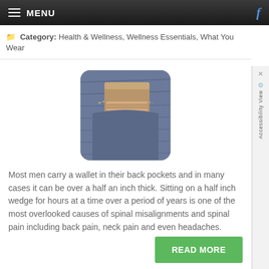MENU
Category: Health & Wellness, Wellness Essentials, What You Wear
[Figure (photo): A brown leather wallet sticking out of the back pocket of blue denim jeans, shown in a rounded-corner square photo.]
Most men carry a wallet in their back pockets and in many cases it can be over a half an inch thick. Sitting on a half inch wedge for hours at a time over a period of years is one of the most overlooked causes of spinal misalignments and spinal pain including back pain, neck pain and even headaches.